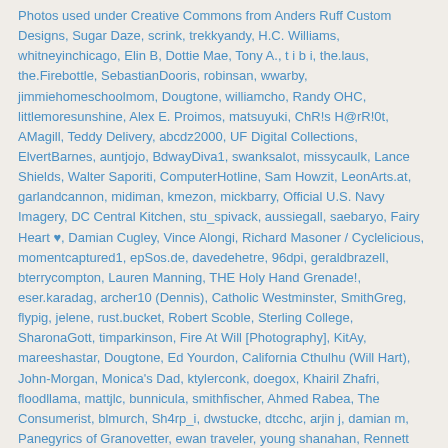Photos used under Creative Commons from Anders Ruff Custom Designs, Sugar Daze, scrink, trekkyandy, H.C. Williams, whitneyinchicago, Elin B, Dottie Mae, Tony A., t i b i, the.laus, the.Firebottle, SebastianDooris, robinsan, wwarby, jimmiehomeschoolmom, Dougtone, williamcho, Randy OHC, littlemoresunshine, Alex E. Proimos, matsuyuki, ChR!s H@rR!0t, AMagill, Teddy Delivery, abcdz2000, UF Digital Collections, ElvertBarnes, auntjojo, BdwayDiva1, swanksalot, missycaulk, Lance Shields, Walter Saporiti, ComputerHotline, Sam Howzit, LeonArts.at, garlandcannon, midiman, kmezon, mickbarry, Official U.S. Navy Imagery, DC Central Kitchen, stu_spivack, aussiegall, saebaryo, Fairy Heart ♥, Damian Cugley, Vince Alongi, Richard Masoner / Cyclelicious, momentcaptured1, epSos.de, davedehetre, 96dpi, geraldbrazell, bterrycompton, Lauren Manning, THE Holy Hand Grenade!, eser.karadag, archer10 (Dennis), Catholic Westminster, SmithGreg, flypig, jelene, rust.bucket, Robert Scoble, Sterling College, SharonaGott, timparkinson, Fire At Will [Photography], KitAy, mareeshastar, Dougtone, Ed Yourdon, California Cthulhu (Will Hart), John-Morgan, Monica's Dad, ktylerconk, doegox, Khairil Zhafri, floodllama, mattjlc, bunnicula, smithfischer, Ahmed Rabea, The Consumerist, blmurch, Sh4rp_i, dwstucke, dtcchc, arjin j, damian m, Panegyrics of Granovetter, ewan traveler, young shanahan, Rennett Stowe, singingwitness, ronnie44052, Tim Green aka atoach, russell pix, missbrendatoyou, Ambernectar 13, LancerE, riptheskull, rs-foto, Max Braun, Yoshimai, dbgg1979, TheSeafarer, Old Sarge, Ewan-M, rictulio, Gwydion M. Williams, quinn.anya, abbybatchelder, katmeresin, Mr. T in DC, tuchodi, SLV's, mealmakeovermoms, Hollingsworth, hoyasmeg, Monica's Dad, Shane's Stuff, frotzed2, Matthew Juzenas, bunkejer4, weeklydig, St.John'sFlowerGuild, InAweofGod'sCreation, Doc Wert, Nomadic Lass, Samdogs, Rojer, MASB Desenvolvimento Imobiliário, Calsidyrose, wallygrom, Tiberiu Ana, ZeroOne, Randy OHC, Betsssssy, georgiapeachez, Lars Plougmann, dtcchc, antwerpenR, Wiros, myfuture.com, ewan traveler, cliff1066™, Peggy2012CREATIVELENZ, 401K 2012, mikemol, Aranami, Randy OHC, Joan Lesan, jm3, Stifts- och landsbiblioteket i Skara, Lunatic Asylum Photostudio, Michael 1952, Zyllan, Images_of_Money, striatic, riptheskull, sanchom, Nick Harris1, S. Reachers, Matt McGee, fdecomite, Wesley Fryer, venna, Daniel Dale, michael_swan, Rodrigo Soldon, Barefoot In Florida, Bright Meadow